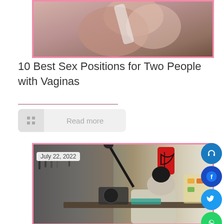[Figure (photo): Cropped photo of two people close together, partially visible from shoulders up, with pink border frame]
10 Best Sex Positions for Two People with Vaginas
[Figure (other): Read more button with grid icon on left and 'Read more' text]
July 22, 2022
[Figure (photo): Workshop/craftsperson photo showing a person working at a bench with tools on pegboard, a red mannequin with harness, and various workshop items, with pink border frame]